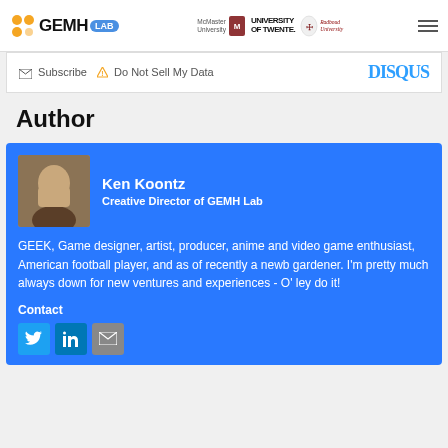GEMH LAB | McMaster University | University of Twente | Radboud University
Subscribe  Do Not Sell My Data  DISQUS
Author
Ken Koontz
Creative Director of GEMH Lab
GEEK, Game designer, artist, producer, anime and video game enthusiast, American football player, and as of recently a newb gardener. I'm pretty much always down for new ventures and experiences - O' ley do it!
Contact